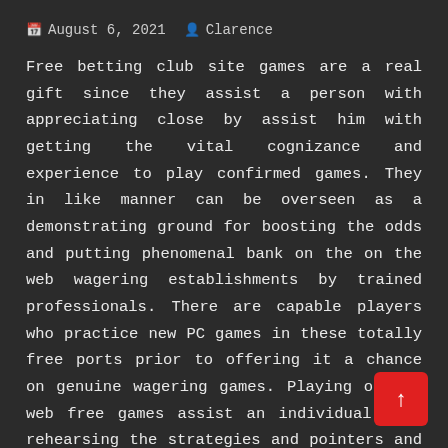August 6, 2021  Clarence
Free betting club site games are a real gift since they assist a person with appreciating close by assist him with getting the vital cognizance and experience to play confirmed games. They in like manner can be overseen as a demonstrating ground for boosting the odds and putting phenomenal bank on the on the web wagering establishments by trained professionals. There are capable players who practice new PC games in these totally free ports prior to offering it a chance on genuine wagering games. Playing on the web free games assist an individual with rehearsing the strategies and pointers and as such stay away from botches when at last playing in the primary PC game. A great [deal] of frustrations and setbacks can be stayed away from when a player gets impeccable prior to diving into this
[Figure (other): Red scroll-to-top button with upward arrow, positioned bottom-right of the page]